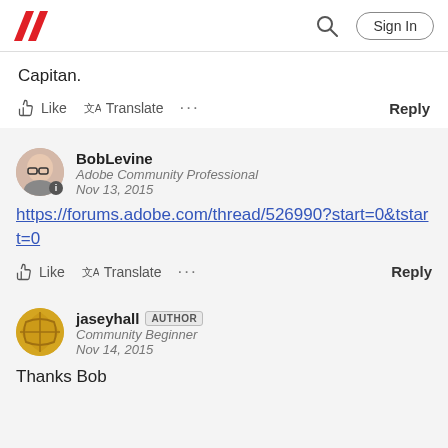[Figure (logo): Adobe red logo mark (stylized A)]
Capitan.
Like  Translate  ...  Reply
BobLevine
Adobe Community Professional
Nov 13, 2015
https://forums.adobe.com/thread/526990?start=0&tstart=0
Like  Translate  ...  Reply
jaseyhall  AUTHOR
Community Beginner
Nov 14, 2015
Thanks Bob